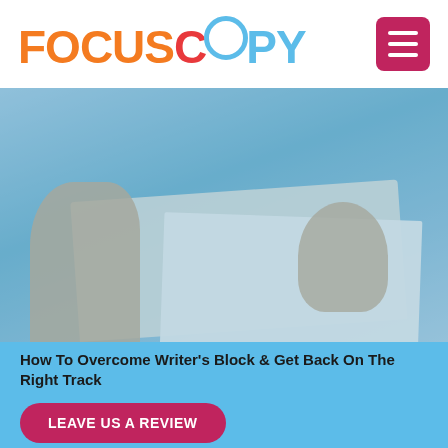FOCUSCOPY
[Figure (photo): Person writing or reading an open book/notebook on a desk, shown from above at an angle, with a blue-tinted overlay]
How To Overcome Writer's Block & Get Back On The Right Track
LEAVE US A REVIEW
Our Services
[Figure (other): Small hamburger/menu icon button with three horizontal lines]